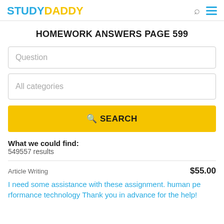STUDYDADDY
HOMEWORK ANSWERS PAGE 599
Question
All categories
🔍 SEARCH
What we could find:
549557 results
Article Writing    $55.00
I need some assistance with these assignment. human performance technology Thank you in advance for the help!